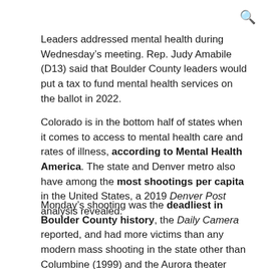[Figure (other): Search icon (magnifying glass) in the top right corner]
Leaders addressed mental health during Wednesday’s meeting. Rep. Judy Amabile (D13) said that Boulder County leaders would put a tax to fund mental health services on the ballot in 2022.
Colorado is in the bottom half of states when it comes to access to mental health care and rates of illness, according to Mental Health America. The state and Denver metro also have among the most shootings per capita in the United States, a 2019 Denver Post analysis revealed.
Monday’s shooting was the deadliest in Boulder County history, the Daily Camera reported, and had more victims than any modern mass shooting in the state other than Columbine (1999) and the Aurora theater shooting (2012). Though “mass